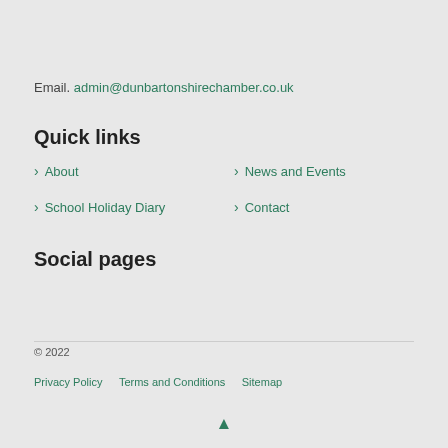Email. admin@dunbartonshirechamber.co.uk
Quick links
> About
> News and Events
> School Holiday Diary
> Contact
Social pages
© 2022
Privacy Policy · Terms and Conditions · Sitemap